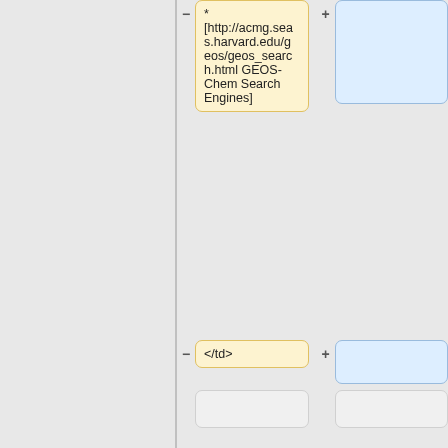* [http://acmg.seas.harvard.edu/geos/geos_search.html GEOS-Chem Search Engines]
</td>
<!-- Steering Committee and Working Groups: Links -->
|}}
<td width="50%" valign="top">
* [http://acmg.seas.harvard.edu/g